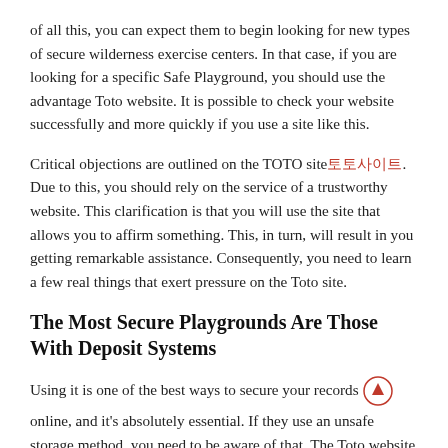of all this, you can expect them to begin looking for new types of secure wilderness exercise centers. In that case, if you are looking for a specific Safe Playground, you should use the advantage Toto website. It is possible to check your website successfully and more quickly if you use a site like this.
Critical objections are outlined on the TOTO site토토사이트. Due to this, you should rely on the service of a trustworthy website. This clarification is that you will use the site that allows you to affirm something. This, in turn, will result in you getting remarkable assistance. Consequently, you need to learn a few real things that exert pressure on the Toto site.
The Most Secure Playgrounds Are Those With Deposit Systems
Using it is one of the best ways to secure your records online, and it's absolutely essential. If they use an unsafe storage method, you need to be aware of that. The Toto website provides reliable features that will assist you in navigating